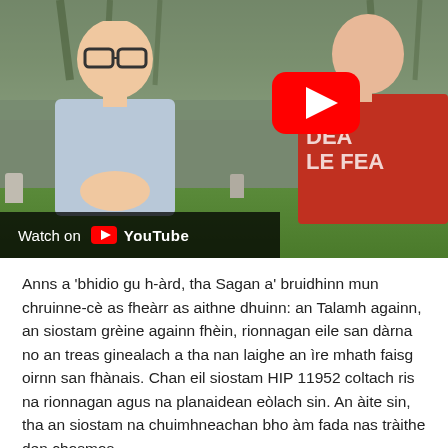[Figure (screenshot): YouTube video thumbnail showing two young men talking outdoors in a park or cemetery setting. One man wears glasses and a light blue shirt; the other wears a red t-shirt. A large YouTube play button is visible in the upper right. A 'Watch on YouTube' bar appears at the bottom left of the video.]
Anns a 'bhidio gu h-àrd, tha Sagan a' bruidhinn mun chruinne-cè as fheàrr as aithne dhuinn: an Talamh againn, an siostam grèine againn fhèin, rionnagan eile san dàrna no an treas ginealach a tha nan laighe an ìre mhath faisg oirnn san fhànais. Chan eil siostam HIP 11952 coltach ris na rionnagan agus na planaidean eòlach sin. An àite sin, tha an siostam na chuimhneachan bho àm fada nas tràithe den chosmos.